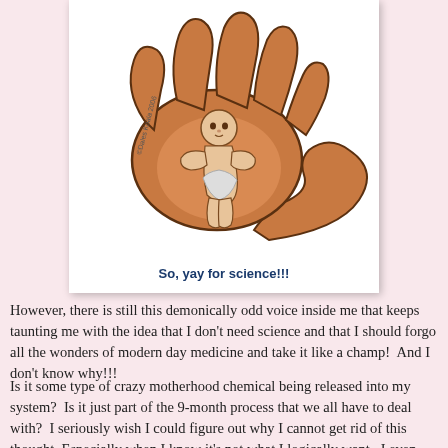[Figure (illustration): Cartoon illustration of a large hand/paw (animal-like, orange-brown) cradling a small baby figure in its palm. The animal has a tail. A small copyright mark reads '©Dales Koala 2006' or similar. White background inside the card.]
So, yay for science!!!
However, there is still this demonically odd voice inside me that keeps taunting me with the idea that I don't need science and that I should forgo all the wonders of modern day medicine and take it like a champ!  And I don't know why!!!
Is it some type of crazy motherhood chemical being released into my system?  Is it just part of the 9-month process that we all have to deal with?  I seriously wish I could figure out why I cannot get rid of this thought. Especially when I know it's not what I logically want.  I even told my mother the other day that no matter what stupid shit I spout during labor she is absolutely, without a doubt